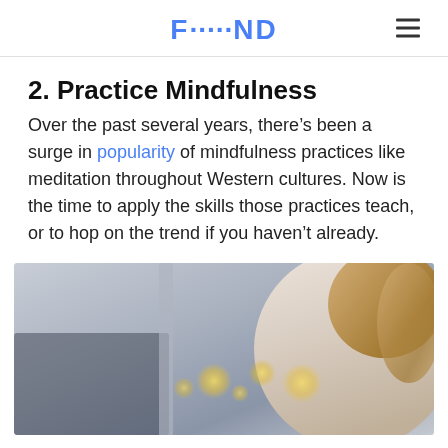FOND
2. Practice Mindfulness
Over the past several years, there’s been a surge in popularity of mindfulness practices like meditation throughout Western cultures. Now is the time to apply the skills those practices teach, or to hop on the trend if you haven’t already.
[Figure (photo): A woman with wavy blonde hair wearing a white fluffy coat, photographed in a softly lit indoor setting with bokeh string lights in the background.]